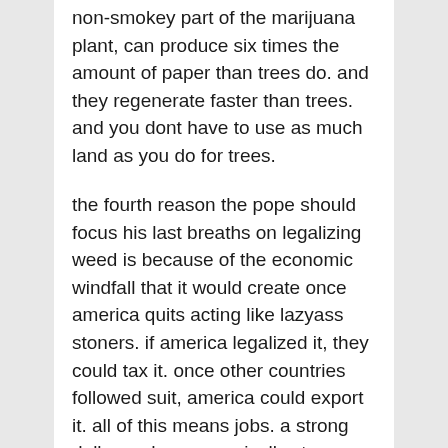non-smokey part of the marijuana plant, can produce six times the amount of paper than trees do. and they regenerate faster than trees. and you dont have to use as much land as you do for trees.
the fourth reason the pope should focus his last breaths on legalizing weed is because of the economic windfall that it would create once america quits acting like lazyass stoners. if america legalized it, they could tax it. once other countries followed suit, america could export it. all of this means jobs. a strong dollar and a economically strong america means a more prosperous and less-violent world.
think about it, during a more prosperous like...